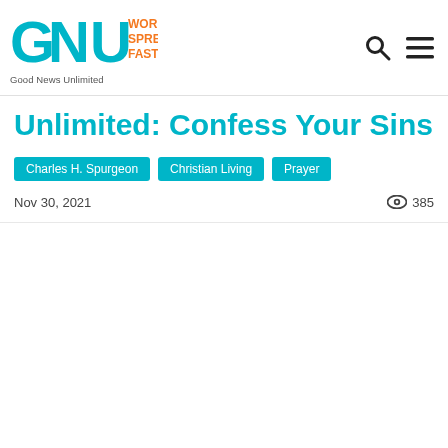Good News Unlimited — Word Spreads Fast.
Unlimited: Confess Your Sins
Charles H. Spurgeon
Christian Living
Prayer
Nov 30, 2021  👁 385